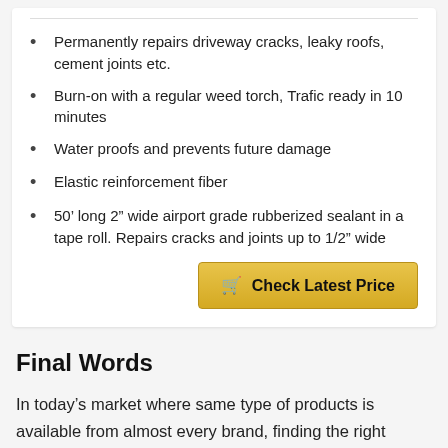Permanently repairs driveway cracks, leaky roofs, cement joints etc.
Burn-on with a regular weed torch, Trafic ready in 10 minutes
Water proofs and prevents future damage
Elastic reinforcement fiber
50’ long 2” wide airport grade rubberized sealant in a tape roll. Repairs cracks and joints up to 1/2” wide
Final Words
In today’s market where same type of products is available from almost every brand, finding the right Asphalt Crack Filler